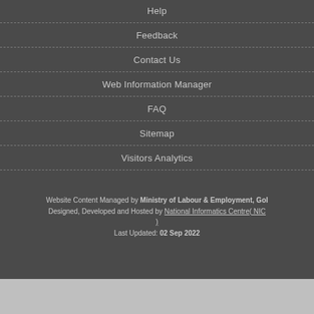Help
Feedback
Contact Us
Web Information Manager
FAQ
Sitemap
Visitors Analytics
Website Content Managed by Ministry of Labour & Employment, GoI Designed, Developed and Hosted by National Informatics Centre( NIC ) Last Updated: 02 Sep 2022